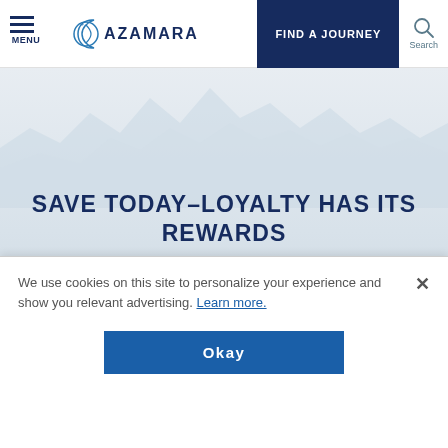MENU | AZAMARA | FIND A JOURNEY | Search
[Figure (illustration): Light blue/grey hero background with faint mountain silhouette watermark]
SAVE TODAY–LOYALTY HAS ITS REWARDS
Save an additional 10% off our favorite voyages with Azamara's
We use cookies on this site to personalize your experience and show you relevant advertising. Learn more.
Okay